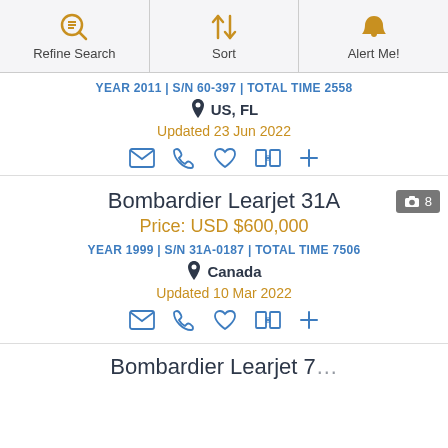Refine Search | Sort | Alert Me!
YEAR 2011 | S/N 60-397 | TOTAL TIME 2558
US, FL
Updated 23 Jun 2022
Bombardier Learjet 31A
Price: USD $600,000
YEAR 1999 | S/N 31A-0187 | TOTAL TIME 7506
Canada
Updated 10 Mar 2022
Bombardier Learjet 7 (partial)